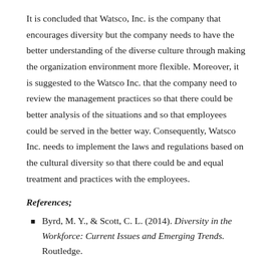It is concluded that Watsco, Inc. is the company that encourages diversity but the company needs to have the better understanding of the diverse culture through making the organization environment more flexible. Moreover, it is suggested to the Watsco Inc. that the company need to review the management practices so that there could be better analysis of the situations and so that employees could be served in the better way. Consequently, Watsco Inc. needs to implement the laws and regulations based on the cultural diversity so that there could be and equal treatment and practices with the employees.
References;
Byrd, M. Y., & Scott, C. L. (2014). Diversity in the Workforce: Current Issues and Emerging Trends. Routledge.